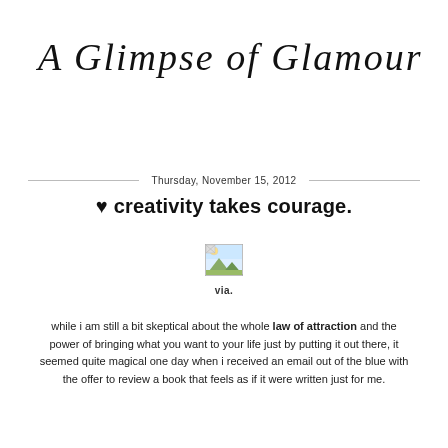A Glimpse of Glamour
Thursday, November 15, 2012
♥ creativity takes courage.
[Figure (illustration): Small broken/placeholder image icon]
via.
while i am still a bit skeptical about the whole law of attraction and the power of bringing what you want to your life just by putting it out there, it seemed quite magical one day when i received an email out of the blue with the offer to review a book that feels as if it were written just for me.